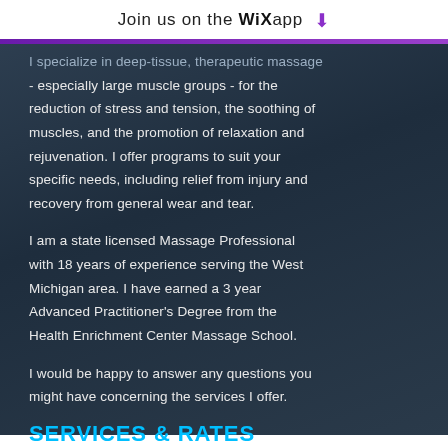Join us on the WiX app ⬇
I specialize in deep-tissue, therapeutic massage - especially large muscle groups - for the reduction of stress and tension, the soothing of muscles, and the promotion of relaxation and rejuvenation. I offer programs to suit your specific needs, including relief from injury and recovery from general wear and tear.
I am a state licensed Massage Professional with 18 years of experience serving the West Michigan area. I have earned a 3 year Advanced Practitioner's Degree from the Health Enrichment Center Massage School.
I would be happy to answer any questions you might have concerning the services I offer.
SERVICES & RATES
1 Hour Session: $50